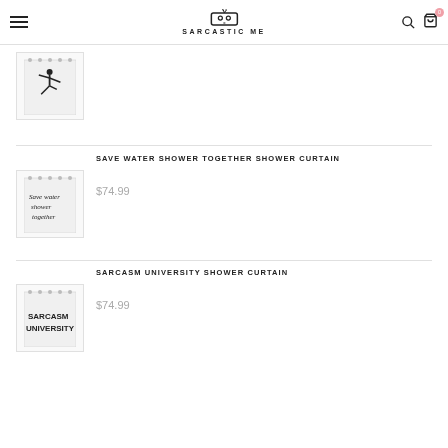SARCASTIC ME
[Figure (illustration): Thumbnail of a shower curtain with a martial arts figure silhouette]
[Figure (illustration): Thumbnail of a shower curtain with cursive text 'Save water shower together']
SAVE WATER SHOWER TOGETHER SHOWER CURTAIN
$74.99
[Figure (illustration): Thumbnail of a shower curtain with bold text 'SARCASM UNIVERSITY']
SARCASM UNIVERSITY SHOWER CURTAIN
$74.99